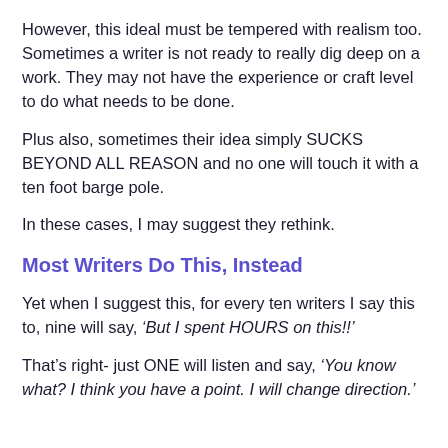However, this ideal must be tempered with realism too. Sometimes a writer is not ready to really dig deep on a work. They may not have the experience or craft level to do what needs to be done.
Plus also, sometimes their idea simply SUCKS BEYOND ALL REASON and no one will touch it with a ten foot barge pole.
In these cases, I may suggest they rethink.
Most Writers Do This, Instead
Yet when I suggest this, for every ten writers I say this to, nine will say, ‘But I spent HOURS on this!!’
That’s right- just ONE will listen and say, ‘You know what? I think you have a point. I will change direction.’